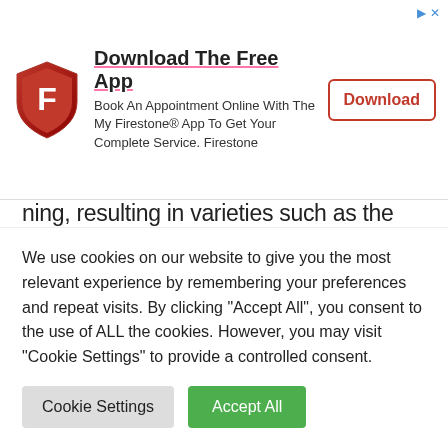[Figure (other): Firestone app advertisement banner with shield logo, 'Download The Free App' heading, body text about booking appointments, and a Download button]
ning, resulting in varieties such as the small white turkey breeds.
The behavior of broad-breasted white turkey
We use cookies on our website to give you the most relevant experience by remembering your preferences and repeat visits. By clicking "Accept All", you consent to the use of ALL the cookies. However, you may visit "Cookie Settings" to provide a controlled consent.